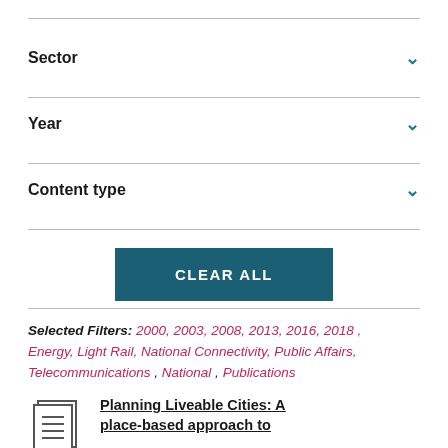Sector
Year
Content type
CLEAR ALL
Selected Filters: 2000, 2003, 2008, 2013, 2016, 2018 , Energy, Light Rail, National Connectivity, Public Affairs, Telecommunications , National , Publications
Planning Liveable Cities: A place-based approach to